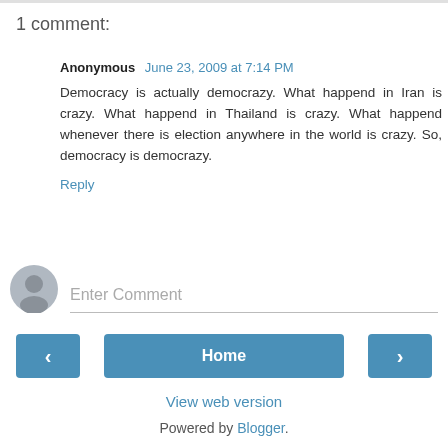1 comment:
Anonymous  June 23, 2009 at 7:14 PM
Democracy is actually democrazy. What happend in Iran is crazy. What happend in Thailand is crazy. What happend whenever there is election anywhere in the world is crazy. So, democracy is democrazy.
Reply
[Figure (illustration): User avatar placeholder icon — grey circle with silhouette]
Enter Comment
< (previous navigation button)
Home
> (next navigation button)
View web version
Powered by Blogger.